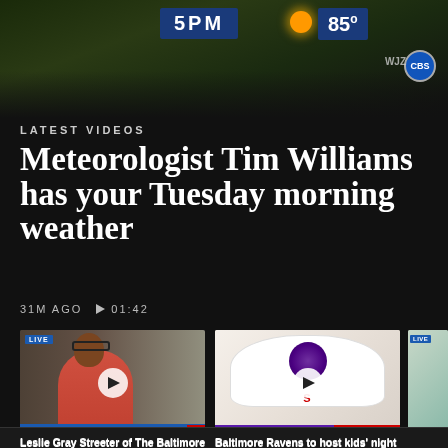[Figure (screenshot): Weather broadcast screenshot showing 5PM and 85 degree temperature with sunny icon]
LATEST VIDEOS
Meteorologist Tim Williams has your Tuesday morning weather
31M AGO  ▶ 01:42
[Figure (screenshot): Video thumbnail: Leslie Gray Streeter LIVE interview in newsroom]
Leslie Gray Streeter of The Baltimore Banner tells us how inflation has impacted...
54M AGO  ▶ 03:00
[Figure (screenshot): Video thumbnail: Baltimore Ravens hat with play button overlay]
Baltimore Ravens to host kids' night with giveaways and live entertainment at...
54M AGO  ▶ 00:43
[Figure (screenshot): Partial video thumbnail: third video LIVE]
Meg and Wood abo of mindfu
1H AGO